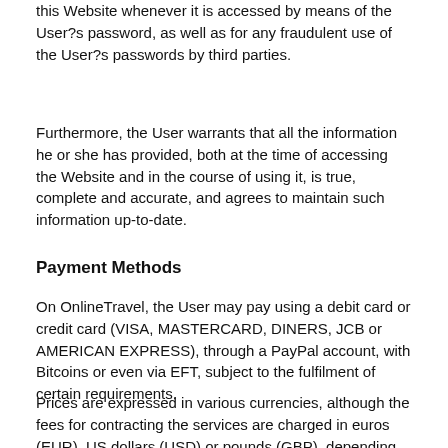this Website whenever it is accessed by means of the User?s password, as well as for any fraudulent use of the User?s passwords by third parties.
Furthermore, the User warrants that all the information he or she has provided, both at the time of accessing the Website and in the course of using it, is true, complete and accurate, and agrees to maintain such information up-to-date.
Payment Methods
On OnlineTravel, the User may pay using a debit card or credit card (VISA, MASTERCARD, DINERS, JCB or AMERICAN EXPRESS), through a PayPal account, with Bitcoins or even via EFT, subject to the fulfilment of certain requirements.
Prices are expressed in various currencies, although the fees for contracting the services are charged in euros (EUR), US dollars (USD) or pounds (GBP), depending on the payment currency selected by the User. Nevertheless, in certain cases when using a